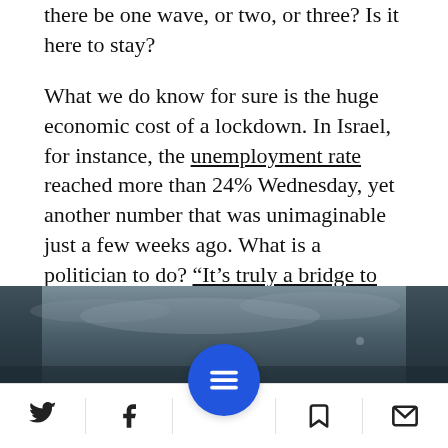there be one wave, or two, or three? Is it here to stay?
What we do know for sure is the huge economic cost of a lockdown. In Israel, for instance, the unemployment rate reached more than 24% Wednesday, yet another number that was unimaginable just a few weeks ago. What is a politician to do? “It’s truly a bridge to the other side of an act of God,” economist Paul McCulley told CNBC.com.
[Figure (photo): Partial photo strip showing a dark overcast sky, cropped at bottom of visible area]